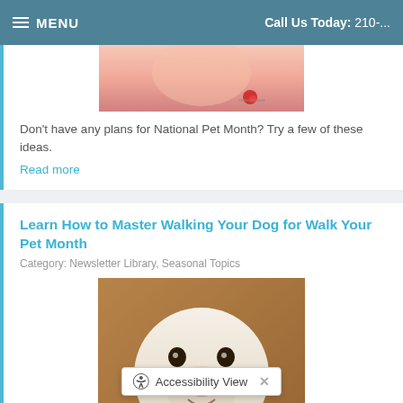MENU   Call Us Today: 210-...
[Figure (photo): Partial photo of a pet (cat or dog) at top, showing skin/fur with red collar detail]
Don't have any plans for National Pet Month? Try a few of these ideas.
Read more
Learn How to Master Walking Your Dog for Walk Your Pet Month
Category: Newsletter Library, Seasonal Topics
[Figure (photo): Photo of a white Labrador dog holding a blue leash in its mouth, looking up at the camera]
Does your dog need a little help walking on a leash?
Read more
Accessibility View